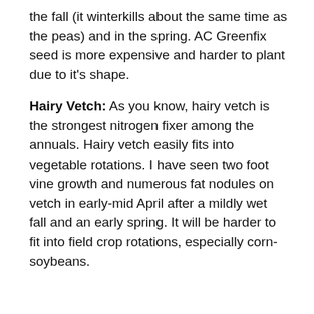the fall (it winterkills about the same time as the peas) and in the spring.  AC Greenfix seed is more expensive and harder to plant due to it's shape.
Hairy Vetch: As you know, hairy vetch is the strongest nitrogen fixer among the annuals.  Hairy vetch easily fits into vegetable rotations. I have seen two foot vine growth and numerous fat nodules on vetch in early-mid April after a mildly wet fall and an early spring.  It will be harder to fit into field crop rotations, especially corn-soybeans.